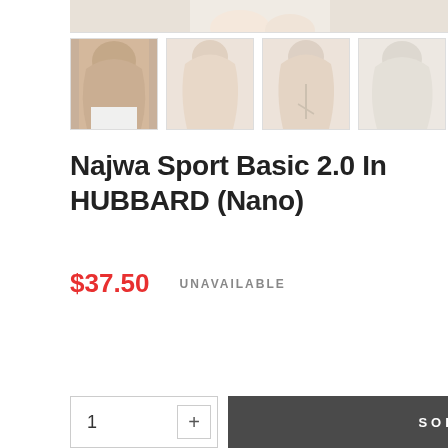[Figure (photo): Top portion of product photo showing hijab worn by model, cropped]
[Figure (photo): Four product thumbnail images showing hijab (Najwa Sport Basic 2.0 In HUBBARD Nano) in beige/tan color from different angles]
Najwa Sport Basic 2.0 In HUBBARD (Nano)
$37.50    UNAVAILABLE
1  +
SOLD OUT